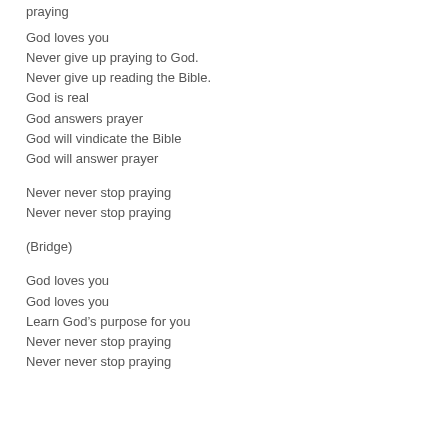praying
God loves you
Never give up praying to God.
Never give up reading the Bible.
God is real
God answers prayer
God will vindicate the Bible
God will answer prayer
Never never stop praying
Never never stop praying
(Bridge)
God loves you
God loves you
Learn God’s purpose for you
Never never stop praying
Never never stop praying